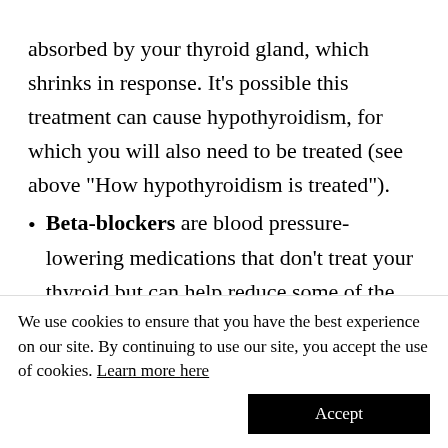absorbed by your thyroid gland, which shrinks in response. It’s possible this treatment can cause hypothyroidism, for which you will also need to be treated (see above “How hypothyroidism is treated”).
Beta-blockers are blood pressure-lowering medications that don’t treat your thyroid but can help reduce some of the symptoms — like a rapid heart rate or shaking — until the thyroid medication kicks in.
Surgery — during which part of your thyroid gland is removed — is another treatment option.
We use cookies to ensure that you have the best experience on our site. By continuing to use our site, you accept the use of cookies. Learn more here